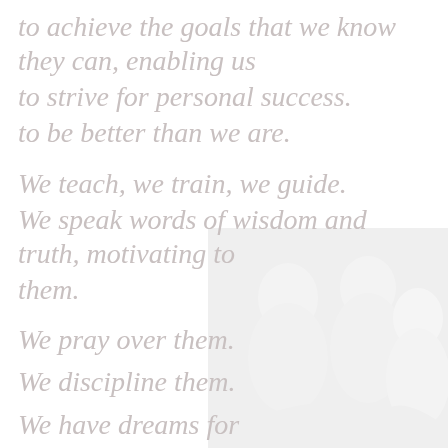to achieve the goals that we know they can, enabling us
to strive for personal success.
to be better than we are.
We teach, we train, we guide.
We speak words of wisdom and truth, motivating to them.
We pray over them.
We discipline them.
We have dreams for them.
We submit.
Crystallize, and
challenge them
to be better today
than they are.
[Figure (photo): Faded background photo of people, positioned at bottom right of the page]